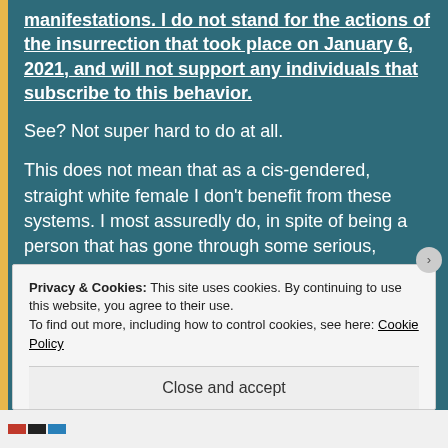manifestations. I do not stand for the actions of the insurrection that took place on January 6, 2021, and will not support any individuals that subscribe to this behavior.
See? Not super hard to do at all.
This does not mean that as a cis-gendered, straight white female I don't benefit from these systems. I most assuredly do, in spite of being a person that has gone through some serious,
Privacy & Cookies: This site uses cookies. By continuing to use this website, you agree to their use.
To find out more, including how to control cookies, see here: Cookie Policy
Close and accept